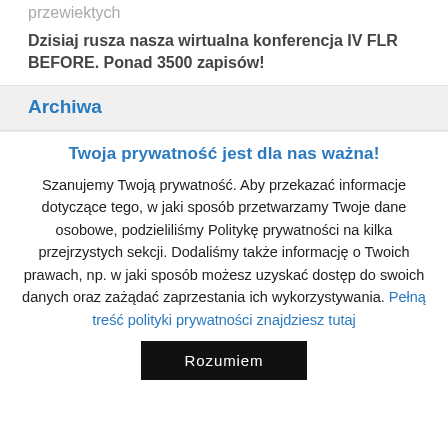przewiektych
Dzisiaj rusza nasza wirtualna konferencja IV FLR BEFORE. Ponad 3500 zapisów!
Archiwa
Twoja prywatność jest dla nas ważna!
Szanujemy Twoją prywatność. Aby przekazać informacje dotyczące tego, w jaki sposób przetwarzamy Twoje dane osobowe, podzieliliśmy Politykę prywatności na kilka przejrzystych sekcji. Dodaliśmy także informację o Twoich prawach, np. w jaki sposób możesz uzyskać dostęp do swoich danych oraz zażądać zaprzestania ich wykorzystywania. Pełną treść polityki prywatności znajdziesz tutaj
Rozumiem